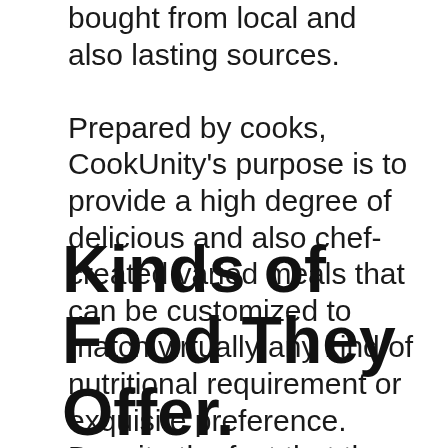bought from local and also lasting sources.

Prepared by cooks, CookUnity's purpose is to provide a high degree of delicious and also chef-created varied meals that can be customized to match virtually any kind of nutritional requirement or exquisite preference. Despite the fact that the dishes given are not personalized, the symbols at the top of the food selection web page help you in tailoring to your specific requirements by permitting you to select from low salt, vegan, paleo, and also gluten-free choices, to name a few instances of what is available.
Kinds of Food They Offer.